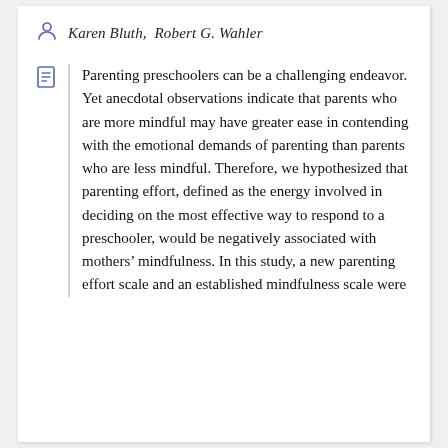Karen Bluth, Robert G. Wahler
Parenting preschoolers can be a challenging endeavor. Yet anecdotal observations indicate that parents who are more mindful may have greater ease in contending with the emotional demands of parenting than parents who are less mindful. Therefore, we hypothesized that parenting effort, defined as the energy involved in deciding on the most effective way to respond to a preschooler, would be negatively associated with mothers' mindfulness. In this study, a new parenting effort scale and an established mindfulness scale were